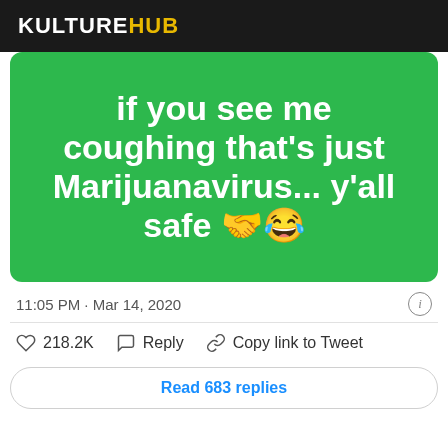KULTUREHUB
[Figure (screenshot): Green background meme image with white bold text reading: 'If you see me coughing that's just Marijuanavirus... y'all safe' with handshake and laughing emoji]
11:05 PM · Mar 14, 2020
218.2K  Reply  Copy link to Tweet
Read 683 replies